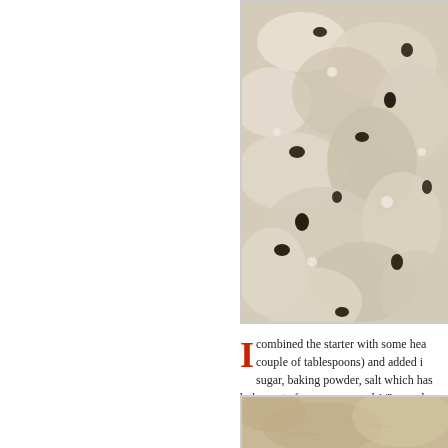[Figure (photo): Close-up photo of flour mixture with dark chocolate chips scattered throughout the pale dough/flour mixture]
I combined the starter with some hea couple of tablespoons) and added i sugar, baking powder, salt which has b the zest of one orange and 1/2 cup ch
[Figure (photo): Close-up photo of batter or dough mixture, beige/tan colored]